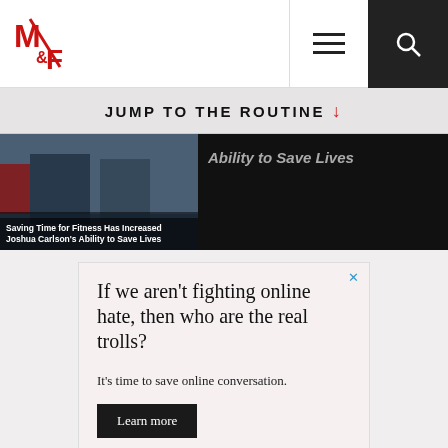M&F logo, hamburger menu, search
JUMP TO THE ROUTINE ↓
[Figure (photo): Article thumbnail showing military/coast guard personnel with overlay text: Saving Time for Fitness Has Increased Joshua Carlson's Ability to Save Lives]
Ability to Save Lives
[Figure (infographic): Advertisement box with pink background. Headline: If we aren't fighting online hate, then who are the real trolls? Subtext: It's time to save online conversation. Button: Learn more]
ADVERTISEMENT ×